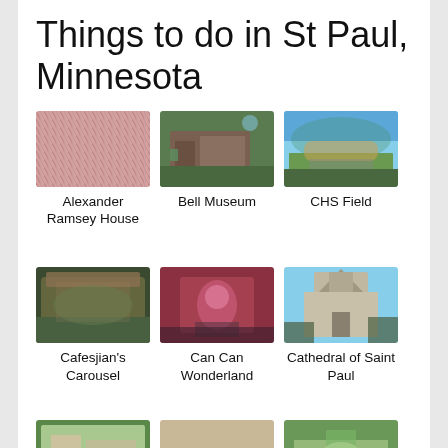Things to do in St Paul, Minnesota
[Figure (photo): Alexander Ramsey House - floral textile pattern close-up]
Alexander Ramsey House
[Figure (photo): Bell Museum - modern building with green lawn]
Bell Museum
[Figure (photo): CHS Field - aerial view of baseball stadium]
CHS Field
[Figure (photo): Cafesjian's Carousel - ornate indoor carousel]
Cafesjian's Carousel
[Figure (photo): Can Can Wonderland - entertainment venue with colorful characters]
Can Can Wonderland
[Figure (photo): Cathedral of Saint Paul - gothic cathedral exterior]
Cathedral of Saint Paul
[Figure (photo): Como Park - garden with flowers]
Como Park
[Figure (photo): Como Park - garden fountain]
Como Park
[Figure (photo): Como Park - garden path]
Como Park